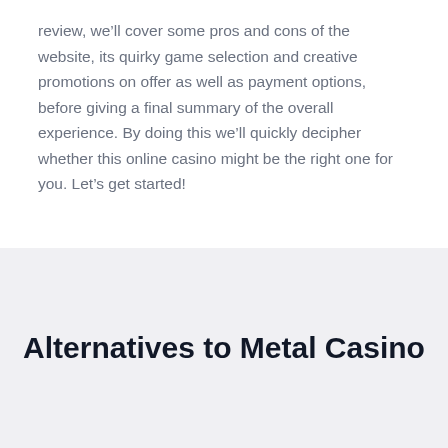review, we'll cover some pros and cons of the website, its quirky game selection and creative promotions on offer as well as payment options, before giving a final summary of the overall experience. By doing this we'll quickly decipher whether this online casino might be the right one for you. Let's get started!
Alternatives to Metal Casino